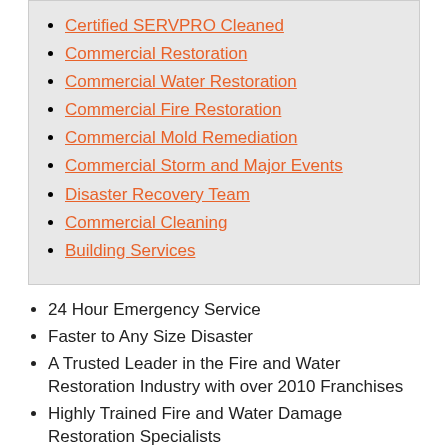Certified SERVPRO Cleaned
Commercial Restoration
Commercial Water Restoration
Commercial Fire Restoration
Commercial Mold Remediation
Commercial Storm and Major Events
Disaster Recovery Team
Commercial Cleaning
Building Services
24 Hour Emergency Service
Faster to Any Size Disaster
A Trusted Leader in the Fire and Water Restoration Industry with over 2010 Franchises
Highly Trained Fire and Water Damage Restoration Specialists
Commercial Fire Damage? Call Us Today – (410) 749-2221
Commercial Restoration